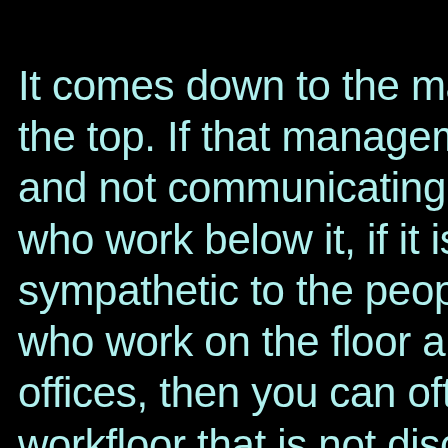It comes down to the management at the top. If that management is and not communicating itself to who work below it, if it is not sympathetic to the people below who work on the floor and in the offices, then you can often get a workfloor that is not disciplined, feels insecure. Which results in morale for your workforce.